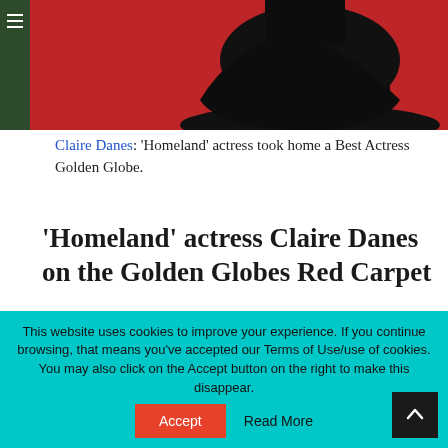[Figure (photo): Woman in black dress on a red carpet event, photo cropped showing lower body on red carpet background]
Claire Danes: ‘Homeland’ actress took home a Best Actress Golden Globe.
‘Homeland’ actress Claire Danes on the Golden Globes Red Carpet
Claire Danes, Golden Globe winner in the Best Actress in a Television Series Drama category for
This website uses cookies to improve your experience. If you continue browsing, that means you’ve accepted our Terms of Use/use of cookies. You may also click on the Accept button on the right to make this disappear.